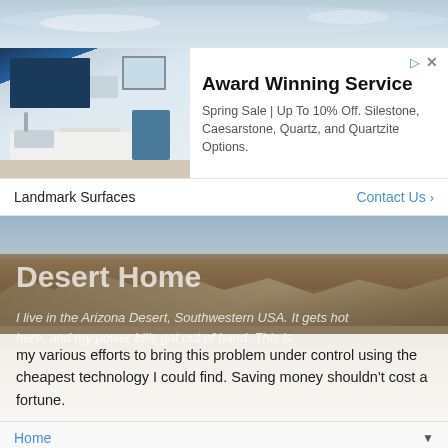[Figure (screenshot): Top sky/cloud strip background]
[Figure (photo): Kitchen interior advertisement image showing white countertops, dark blue cabinets, and a stove]
Award Winning Service
Spring Sale | Up To 10% Off. Silestone, Caesarstone, Quartz, and Quartzite Options.
Landmark Surfaces
Contact Us >
[Figure (photo): Desert landscape with scrubby vegetation, rocks, and sky]
Desert Home
I live in the Arizona Desert, Southwestern USA. It gets hot here, and my power bills got out of hand. This is my various efforts to bring this problem under control using the cheapest technology I could find. Saving money shouldn't cost a fortune.
Home